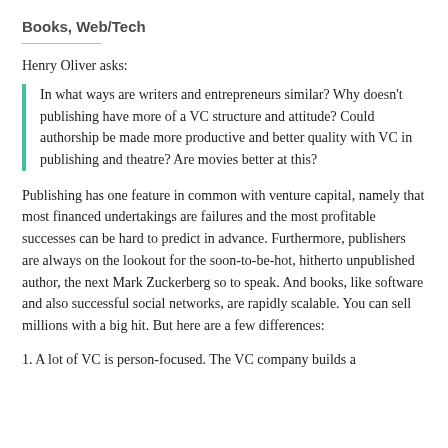Books, Web/Tech
Henry Oliver asks:
In what ways are writers and entrepreneurs similar? Why doesn't publishing have more of a VC structure and attitude? Could authorship be made more productive and better quality with VC in publishing and theatre? Are movies better at this?
Publishing has one feature in common with venture capital, namely that most financed undertakings are failures and the most profitable successes can be hard to predict in advance. Furthermore, publishers are always on the lookout for the soon-to-be-hot, hitherto unpublished author, the next Mark Zuckerberg so to speak. And books, like software and also successful social networks, are rapidly scalable. You can sell millions with a big hit. But here are a few differences:
1. A lot of VC is person-focused. The VC company builds a